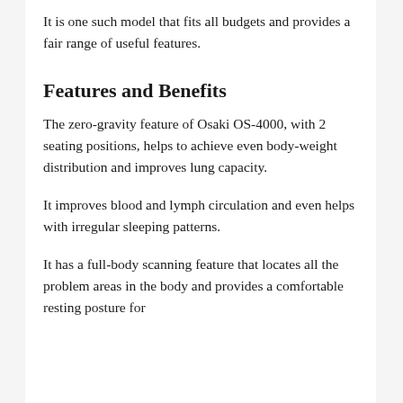It is one such model that fits all budgets and provides a fair range of useful features.
Features and Benefits
The zero-gravity feature of Osaki OS-4000, with 2 seating positions, helps to achieve even body-weight distribution and improves lung capacity.
It improves blood and lymph circulation and even helps with irregular sleeping patterns.
It has a full-body scanning feature that locates all the problem areas in the body and provides a comfortable resting posture for the user for resting.